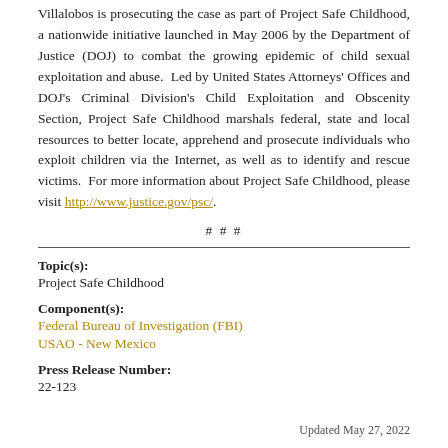Villalobos is prosecuting the case as part of Project Safe Childhood, a nationwide initiative launched in May 2006 by the Department of Justice (DOJ) to combat the growing epidemic of child sexual exploitation and abuse. Led by United States Attorneys' Offices and DOJ's Criminal Division's Child Exploitation and Obscenity Section, Project Safe Childhood marshals federal, state and local resources to better locate, apprehend and prosecute individuals who exploit children via the Internet, as well as to identify and rescue victims. For more information about Project Safe Childhood, please visit http://www.justice.gov/psc/.
# # #
Topic(s):
Project Safe Childhood
Component(s):
Federal Bureau of Investigation (FBI)
USAO - New Mexico
Press Release Number:
22-123
Updated May 27, 2022